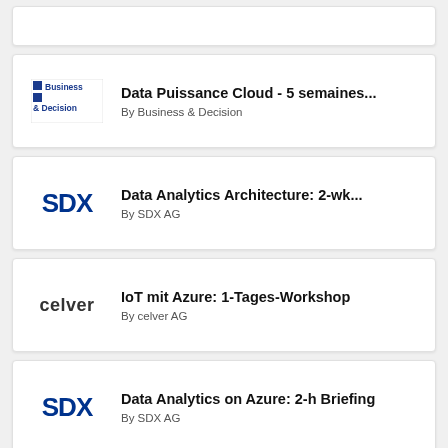[Figure (screenshot): Partial card at top of page, content cut off]
Data Puissance Cloud - 5 semaines...
By Business & Decision
Data Analytics Architecture: 2-wk...
By SDX AG
IoT mit Azure: 1-Tages-Workshop
By celver AG
Data Analytics on Azure: 2-h Briefing
By SDX AG